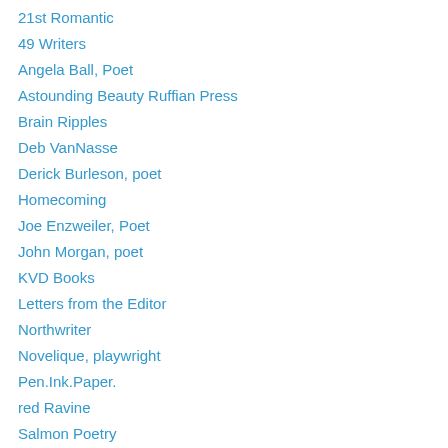21st Romantic
49 Writers
Angela Ball, Poet
Astounding Beauty Ruffian Press
Brain Ripples
Deb VanNasse
Derick Burleson, poet
Homecoming
Joe Enzweiler, Poet
John Morgan, poet
KVD Books
Letters from the Editor
Northwriter
Novelique, playwright
Pen.Ink.Paper.
red Ravine
Salmon Poetry
The Blue Hour
The Write Mag